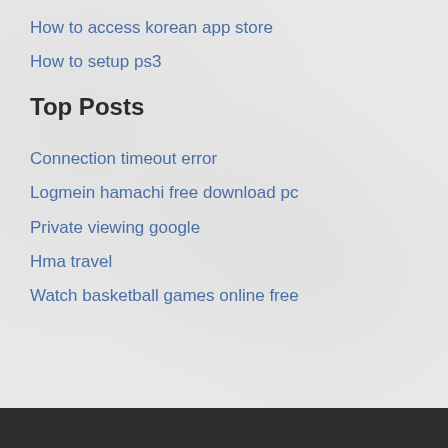How to access korean app store
How to setup ps3
Top Posts
Connection timeout error
Logmein hamachi free download pc
Private viewing google
Hma travel
Watch basketball games online free